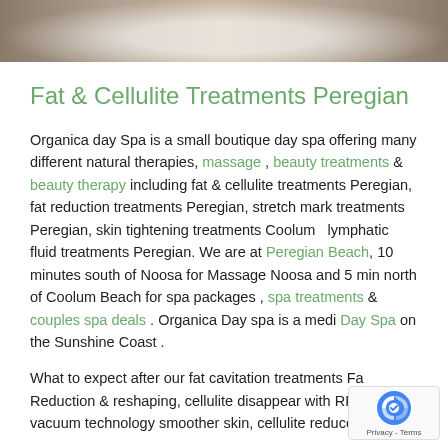[Figure (photo): Header photo of spa items on a wooden surface, with a bowl/dish visible, soft focus]
Fat & Cellulite Treatments Peregian
Organica day Spa is a small boutique day spa offering many different natural therapies, massage , beauty treatments & beauty therapy including fat & cellulite treatments Peregian, fat reduction treatments Peregian, stretch mark treatments Peregian, skin tightening treatments Coolum &  lymphatic fluid treatments Peregian. We are at Peregian Beach, 10 minutes south of Noosa for Massage Noosa and 5 min north of Coolum Beach for spa packages , spa treatments & couples spa deals . Organica Day spa is a medi Day Spa on the Sunshine Coast .
What to expect after our fat cavitation treatments Fat Reduction & reshaping, cellulite disappear with RF bipolar & vacuum technology smoother skin, cellulite reduced, Skin